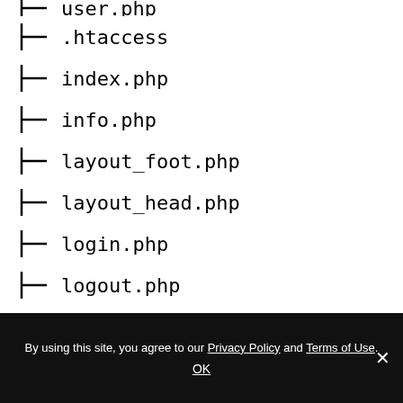├── user.php
├── .htaccess
├── index.php
├── info.php
├── layout_foot.php
├── layout_head.php
├── login.php
├── logout.php
├── navigation.php
├── page.php
Features List & Download
By using this site, you agree to our Privacy Policy and Terms of Use. OK